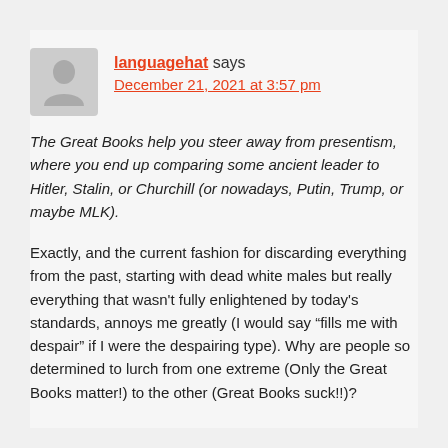languagehat says December 21, 2021 at 3:57 pm
The Great Books help you steer away from presentism, where you end up comparing some ancient leader to Hitler, Stalin, or Churchill (or nowadays, Putin, Trump, or maybe MLK).
Exactly, and the current fashion for discarding everything from the past, starting with dead white males but really everything that wasn't fully enlightened by today's standards, annoys me greatly (I would say “fills me with despair” if I were the despairing type). Why are people so determined to lurch from one extreme (Only the Great Books matter!) to the other (Great Books suck!!)?